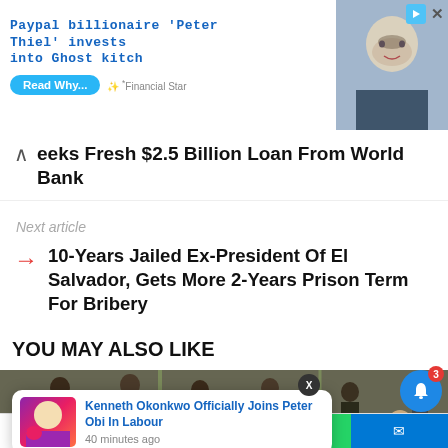[Figure (screenshot): Advertisement banner: Paypal billionaire 'Peter Thiel' invests into Ghost kitch... with Read Why button, Financial Star source, and photo of man]
seeks Fresh $2.5 Billion Loan From World Bank
Next article
10-Years Jailed Ex-President Of El Salvador, Gets More 2-Years Prison Term For Bribery
YOU MAY ALSO LIKE
[Figure (photo): Group of people standing outdoors, appears to be a news photo]
Kenneth Okonkwo Officially Joins Peter Obi In Labour
40 minutes ago
201 Shares